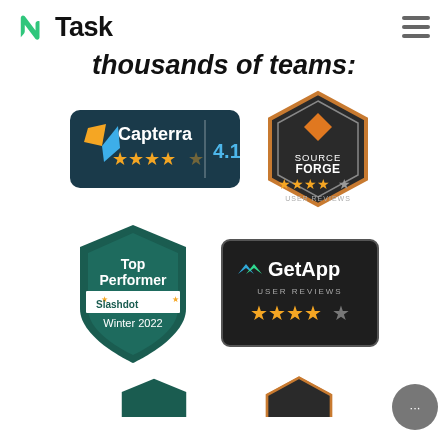[Figure (logo): nTask logo with green icon and bold Task text, plus hamburger menu icon in top right]
thousands of teams:
[Figure (infographic): Capterra badge with rating 4.1 and 4 gold stars]
[Figure (infographic): SourceForge hexagon badge with 5 gold stars and USER REVIEWS text]
[Figure (infographic): Top Performer Slashdot Winter 2022 badge in dark teal shield shape]
[Figure (infographic): GetApp USER REVIEWS badge with 4 gold stars and 1 partial star]
[Figure (infographic): Partial badge visible at bottom left (teal shield)]
[Figure (infographic): Partial badge visible at bottom right (orange hexagon SourceForge)]